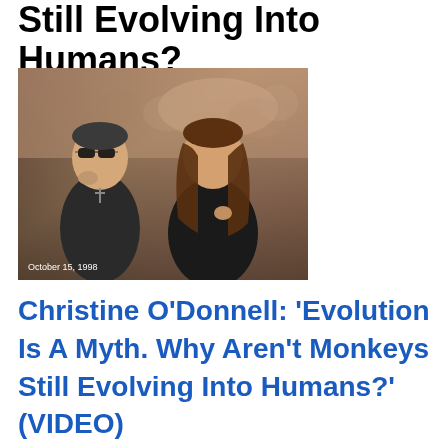Still Evolving Into Humans? (VIDEO)
[Figure (photo): Two women seated in an audience or panel setting. The one on the left wears sunglasses and a black top with a cross necklace. The one on the right has long brown hair and wears a black outfit. A timestamp reads 'October 15, 1998'.]
Christine O'Donnell: 'Evolution Is A Myth. Why Aren't Monkeys Still Evolving Into Humans?' (VIDEO)